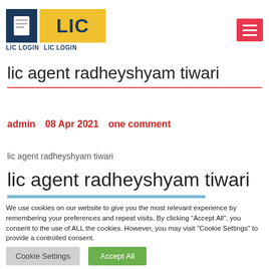[Figure (logo): LIC Login logo with document icon and yellow LIC block, with text 'LIC LOGIN LIC LOGIN' below]
lic agent radheyshyam tiwari
admin   08 Apr 2021     one comment
lic agent radheyshyam tiwari
lic agent radheyshyam tiwari
[Figure (illustration): Blue background image with text 'Best Company in INDIA' in dark blue bold font]
We use cookies on our website to give you the most relevant experience by remembering your preferences and repeat visits. By clicking “Accept All”, you consent to the use of ALL the cookies. However, you may visit "Cookie Settings" to provide a controlled consent.